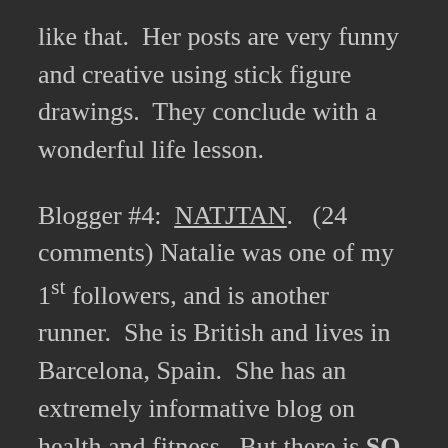like that.  Her posts are very funny and creative using stick figure drawings.  They conclude with a wonderful life lesson.
Blogger #4:  NATJTAN.   (24 comments) Natalie was one of my 1st followers, and is another runner.  She is British and lives in Barcelona, Spain.  She has an extremely informative blog on health and fitness.  But there is SO much more:  great photography, nutrition, exercise routines.  Her posts are engaging, and she often concludes her posts with a couple of questions that invite interaction.  Nutrition